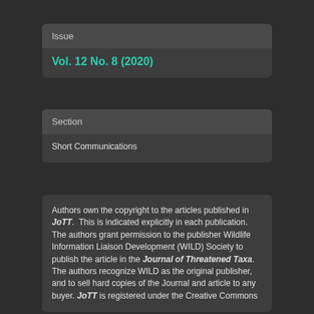Issue
Vol. 12 No. 8 (2020)
Section
Short Communications
Authors own the copyright to the articles published in JoTT. This is indicated explicitly in each publication. The authors grant permission to the publisher Wildlife Information Liaison Development (WILD) Society to publish the article in the Journal of Threatened Taxa. The authors recognize WILD as the original publisher, and to sell hard copies of the Journal and article to any buyer. JoTT is registered under the Creative Commons